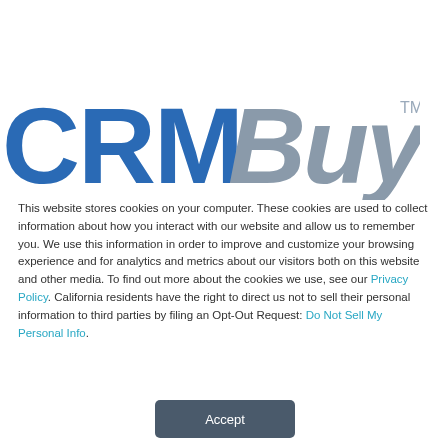[Figure (logo): CRMBuyer logo with CRM in bold blue and Buyer in italic gray, followed by TM superscript]
This website stores cookies on your computer. These cookies are used to collect information about how you interact with our website and allow us to remember you. We use this information in order to improve and customize your browsing experience and for analytics and metrics about our visitors both on this website and other media. To find out more about the cookies we use, see our Privacy Policy. California residents have the right to direct us not to sell their personal information to third parties by filing an Opt-Out Request: Do Not Sell My Personal Info.
Accept